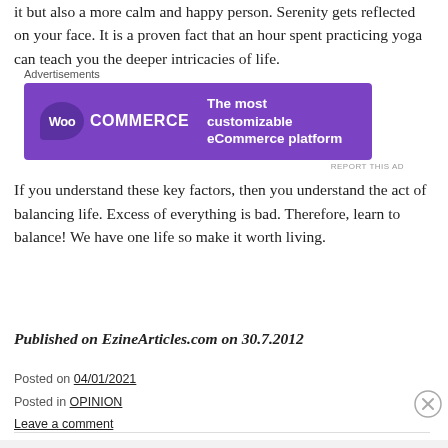it but also a more calm and happy person. Serenity gets reflected on your face. It is a proven fact that an hour spent practicing yoga can teach you the deeper intricacies of life.
[Figure (other): WooCommerce advertisement banner — purple background with WooCommerce logo on left and tagline 'The most customizable eCommerce platform' on right]
If you understand these key factors, then you understand the act of balancing life. Excess of everything is bad. Therefore, learn to balance! We have one life so make it worth living.
Published on EzineArticles.com on 30.7.2012
Posted on 04/01/2021
Posted in OPINION
Leave a comment